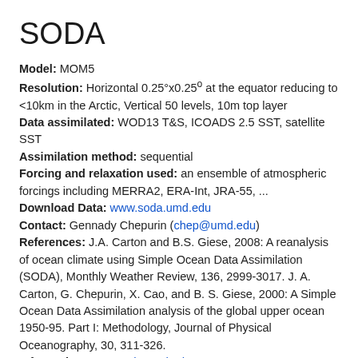SODA
Model: MOM5
Resolution: Horizontal 0.25°x0.25° at the equator reducing to <10km in the Arctic, Vertical 50 levels, 10m top layer
Data assimilated: WOD13 T&S, ICOADS 2.5 SST, satellite SST
Assimilation method: sequential
Forcing and relaxation used: an ensemble of atmospheric forcings including MERRA2, ERA-Int, JRA-55, ...
Download Data: www.soda.umd.edu
Contact: Gennady Chepurin (chep@umd.edu)
References: J.A. Carton and B.S. Giese, 2008: A reanalysis of ocean climate using Simple Ocean Data Assimilation (SODA), Monthly Weather Review, 136, 2999-3017. J. A. Carton, G. Chepurin, X. Cao, and B. S. Giese, 2000: A Simple Ocean Data Assimilation analysis of the global upper ocean 1950-95. Part I: Methodology, Journal of Physical Oceanography, 30, 311-326.
Information: www.soda.umd.edu
TOPAZ